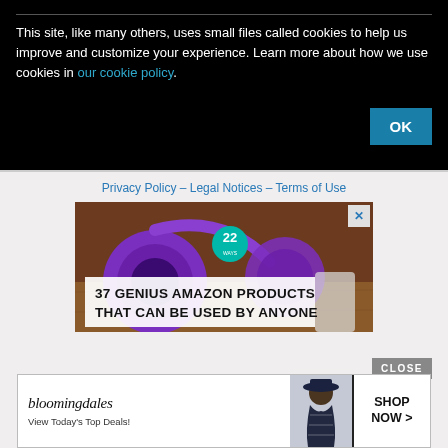This site, like many others, uses small files called cookies to help us improve and customize your experience. Learn more about how we use cookies in our cookie policy.
[Figure (screenshot): OK button on black cookie consent banner]
Privacy Policy – Legal Notices – Terms of Use
[Figure (photo): Advertisement banner showing purple headphones on wooden surface with text '37 GENIUS AMAZON PRODUCTS THAT CAN BE USED BY ANYONE' and a badge showing '22']
[Figure (screenshot): CLOSE button for bottom advertisement]
[Figure (screenshot): Bloomingdale's advertisement: 'bloomingdales - View Today's Top Deals!' with a model wearing a hat and SHOP NOW > button]